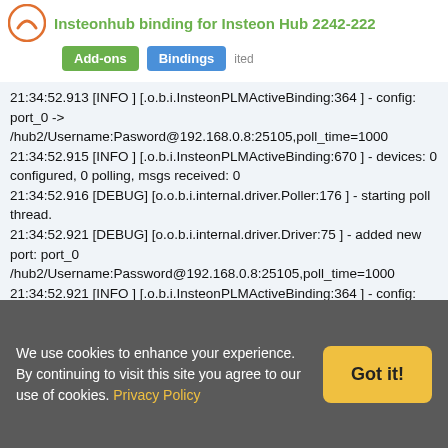Insteonhub binding for Insteon Hub 2242-222
21:34:52.913 [INFO ] [.o.b.i.InsteonPLMActiveBinding:364 ] - config: port_0 -> /hub2/Username:Pasword@192.168.0.8:25105,poll_time=1000
21:34:52.915 [INFO ] [.o.b.i.InsteonPLMActiveBinding:670 ] - devices: 0 configured, 0 polling, msgs received: 0
21:34:52.916 [DEBUG] [o.o.b.i.internal.driver.Poller:176 ] - starting poll thread.
21:34:52.921 [DEBUG] [o.o.b.i.internal.driver.Driver:75 ] - added new port: port_0 /hub2/Username:Password@192.168.0.8:25105,poll_time=1000
21:34:52.921 [INFO ] [.o.b.i.InsteonPLMActiveBinding:364 ] - config: service.pid -> org.openhab.insteonplm
But the switch will not operate.
We use cookies to enhance your experience. By continuing to visit this site you agree to our use of cookies. Privacy Policy